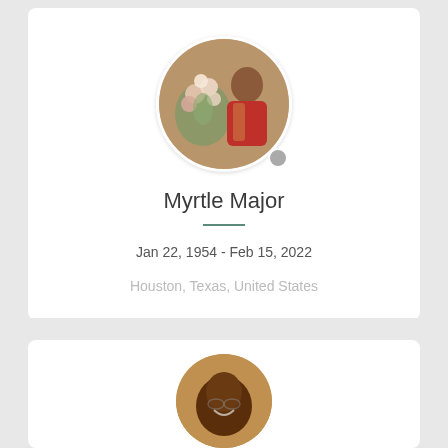[Figure (photo): Circular profile photo of Myrtle Major, a woman in a red outfit standing next to flowers]
Myrtle Major
Jan 22, 1954 - Feb 15, 2022
Houston, Texas, United States
[Figure (photo): Circular profile photo of a second person, partially visible at bottom of page]